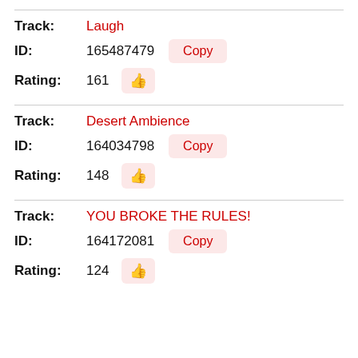Track: Laugh
ID: 165487479
Rating: 161
Track: Desert Ambience
ID: 164034798
Rating: 148
Track: YOU BROKE THE RULES!
ID: 164172081
Rating: 124